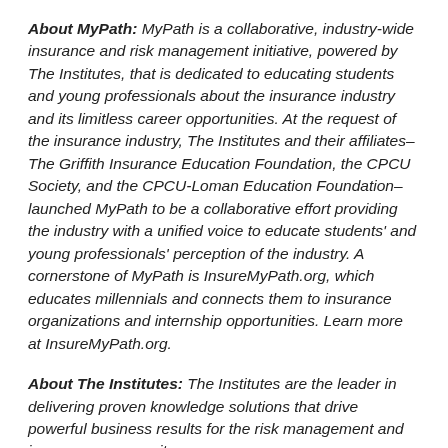About MyPath: MyPath is a collaborative, industry-wide insurance and risk management initiative, powered by The Institutes, that is dedicated to educating students and young professionals about the insurance industry and its limitless career opportunities. At the request of the insurance industry, The Institutes and their affiliates–The Griffith Insurance Education Foundation, the CPCU Society, and the CPCU-Loman Education Foundation–launched MyPath to be a collaborative effort providing the industry with a unified voice to educate students' and young professionals' perception of the industry. A cornerstone of MyPath is InsureMyPath.org, which educates millennials and connects them to insurance organizations and internship opportunities. Learn more at InsureMyPath.org.
About The Institutes: The Institutes are the leader in delivering proven knowledge solutions that drive powerful business results for the risk management and insurance community.